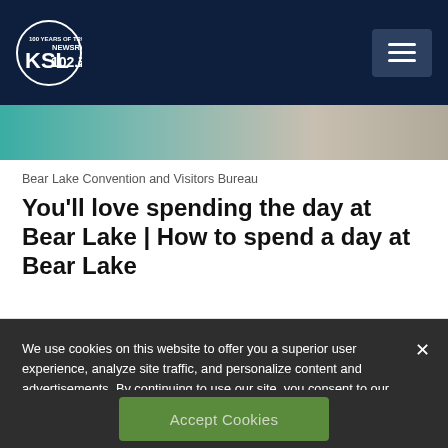KSL NewsRadio 102.7 FM — 100 Years of Trust
[Figure (photo): Partial view of Bear Lake with teal/turquoise water and shoreline]
Bear Lake Convention and Visitors Bureau
You'll love spending the day at Bear Lake | How to spend a day at Bear Lake
We use cookies on this website to offer you a superior user experience, analyze site traffic, and personalize content and advertisements. By continuing to use our site, you consent to our use of cookies. Please visit our Privacy Policy for more information.
Accept Cookies